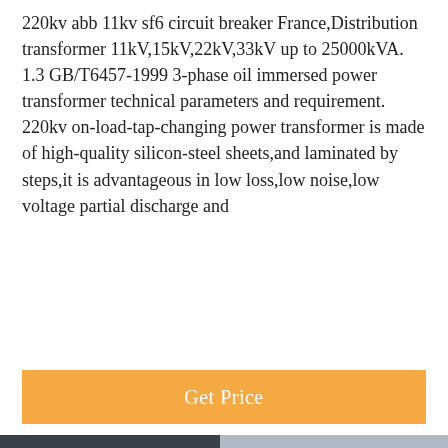220kv abb 11kv sf6 circuit breaker France,Distribution transformer 11kV,15kV,22kV,33kV up to 25000kVA. 1.3 GB/T6457-1999 3-phase oil immersed power transformer technical parameters and requirement. 220kv on-load-tap-changing power transformer is made of high-quality silicon-steel sheets,and laminated by steps,it is advantageous in low loss,low noise,low voltage partial discharge and
[Figure (other): Orange 'Get Price' button bar]
[Figure (photo): Industrial substation/power transformer facility photo showing equipment racks, transformers, and electrical towers in background]
Leave Message
Chat Online